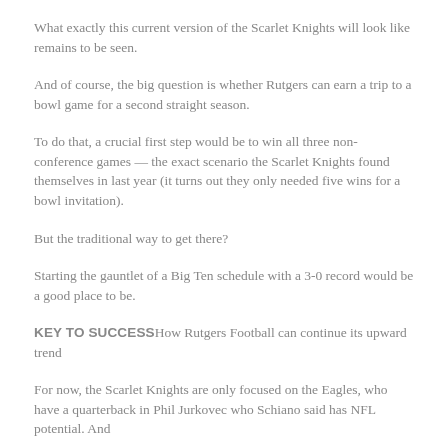What exactly this current version of the Scarlet Knights will look like remains to be seen.
And of course, the big question is whether Rutgers can earn a trip to a bowl game for a second straight season.
To do that, a crucial first step would be to win all three non-conference games — the exact scenario the Scarlet Knights found themselves in last year (it turns out they only needed five wins for a bowl invitation).
But the traditional way to get there?
Starting the gauntlet of a Big Ten schedule with a 3-0 record would be a good place to be.
KEY TO SUCCESSHow Rutgers Football can continue its upward trend
For now, the Scarlet Knights are only focused on the Eagles, who have a quarterback in Phil Jurkovec who Schiano said has NFL potential. And